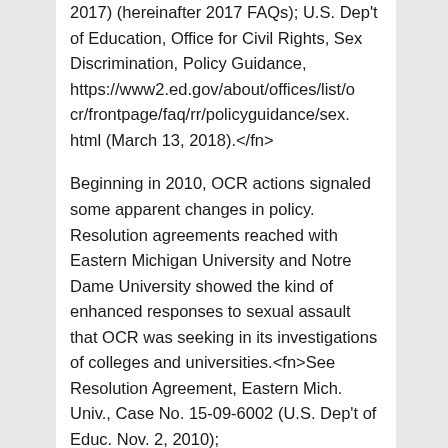2017) (hereinafter 2017 FAQs); U.S. Dep't of Education, Office for Civil Rights, Sex Discrimination, Policy Guidance, https://www2.ed.gov/about/offices/list/ocr/frontpage/faq/rr/policyguidance/sex.html (March 13, 2018).</fn>
Beginning in 2010, OCR actions signaled some apparent changes in policy. Resolution agreements reached with Eastern Michigan University and Notre Dame University showed the kind of enhanced responses to sexual assault that OCR was seeking in its investigations of colleges and universities.<fn>See Resolution Agreement, Eastern Mich. Univ., Case No. 15-09-6002 (U.S. Dep't of Educ. Nov. 2, 2010); https://www2.ed.gov/about/office/list/oc